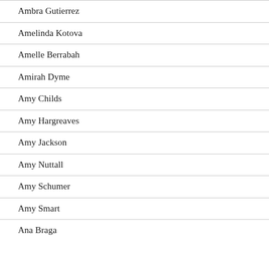Ambra Gutierrez
Amelinda Kotova
Amelle Berrabah
Amirah Dyme
Amy Childs
Amy Hargreaves
Amy Jackson
Amy Nuttall
Amy Schumer
Amy Smart
Ana Braga